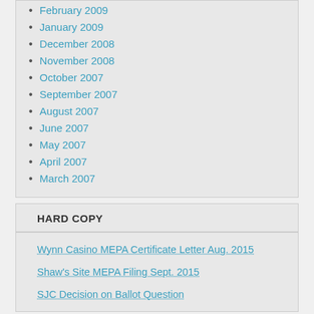February 2009
January 2009
December 2008
November 2008
October 2007
September 2007
August 2007
June 2007
May 2007
April 2007
March 2007
HARD COPY
Wynn Casino MEPA Certificate Letter Aug. 2015
Shaw's Site MEPA Filing Sept. 2015
SJC Decision on Ballot Question